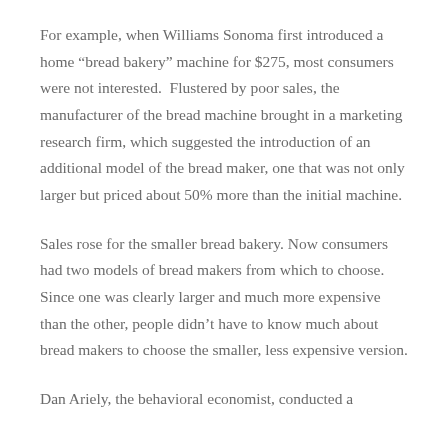For example, when Williams Sonoma first introduced a home “bread bakery” machine for $275, most consumers were not interested.  Flustered by poor sales, the manufacturer of the bread machine brought in a marketing research firm, which suggested the introduction of an additional model of the bread maker, one that was not only larger but priced about 50% more than the initial machine.
Sales rose for the smaller bread bakery. Now consumers had two models of bread makers from which to choose.  Since one was clearly larger and much more expensive than the other, people didn’t have to know much about bread makers to choose the smaller, less expensive version.
Dan Ariely, the behavioral economist, conducted a